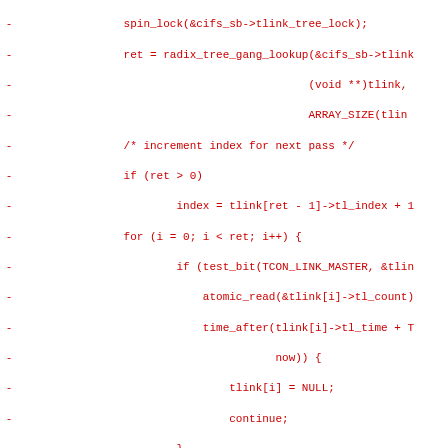[Figure (screenshot): Source code diff showing removed lines (red, marked with -) and added lines (green, marked with +) from a Linux kernel CIFS filesystem patch.]